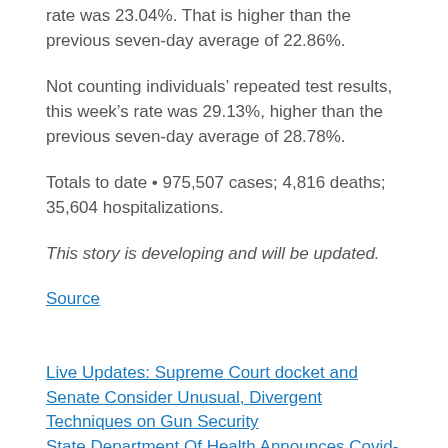rate was 23.04%. That is higher than the previous seven-day average of 22.86%.
Not counting individuals’ repeated test results, this week’s rate was 29.13%, higher than the previous seven-day average of 28.78%.
Totals to date • 975,507 cases; 4,816 deaths; 35,604 hospitalizations.
This story is developing and will be updated.
Source
Live Updates: Supreme Court docket and Senate Consider Unusual, Divergent Techniques on Gun Security State Department Of Health Announces Covid-19 Vaccines